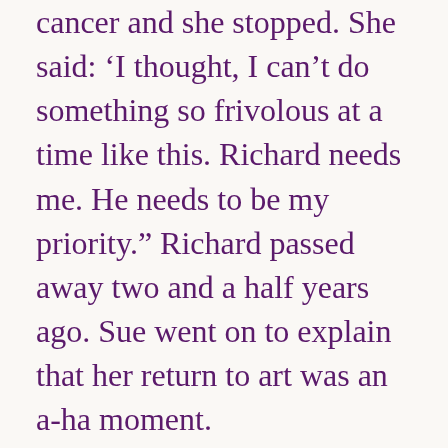cancer and she stopped. She said: 'I thought, I can't do something so frivolous at a time like this. Richard needs me. He needs to be my priority.' Richard passed away two and a half years ago. Sue went on to explain that her return to art was an a-ha moment.
"Art was, and is, a way for me to stay in the present moment, process my emotions, and take care of myself. At first, all the art I made was about Richard. But one day, after a while, I